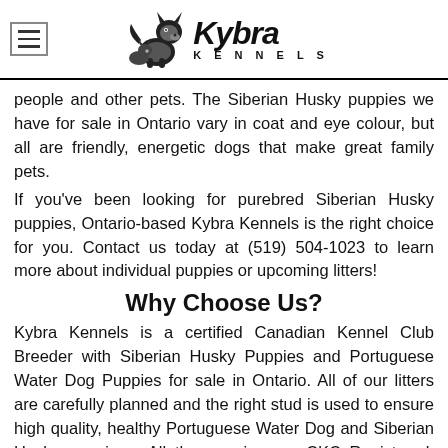Kybra Kennels
people and other pets. The Siberian Husky puppies we have for sale in Ontario vary in coat and eye colour, but all are friendly, energetic dogs that make great family pets.
If you've been looking for purebred Siberian Husky puppies, Ontario-based Kybra Kennels is the right choice for you. Contact us today at (519) 504-1023 to learn more about individual puppies or upcoming litters!
Why Choose Us?
Kybra Kennels is a certified Canadian Kennel Club Breeder with Siberian Husky Puppies and Portuguese Water Dog Puppies for sale in Ontario. All of our litters are carefully planned and the right stud is used to ensure high quality, healthy Portuguese Water Dog and Siberian Husky puppies.  All the puppies are CKC Registered. They come already having had their first set of needles and dewormer. They are thoroughly